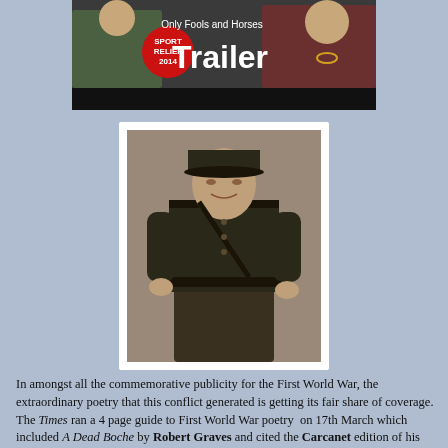[Figure (photo): Screenshot/thumbnail of 'Only Fools and Horses Trailer' for Sport Relief 2014, showing two people and a red Sport Relief 2014 badge]
[Figure (photo): Black and white portrait photograph of a young WWI-era soldier in military uniform with cap, belt and jacket]
In amongst all the commemorative publicity for the First World War, the extraordinary poetry that this conflict generated is getting its fair share of coverage.  The Times ran a 4 page guide to First World War poetry  on 17th March which included A Dead Boche by Robert Graves and cited the Carcanet edition of his Complete Poems Volume 1 (978 857541717)